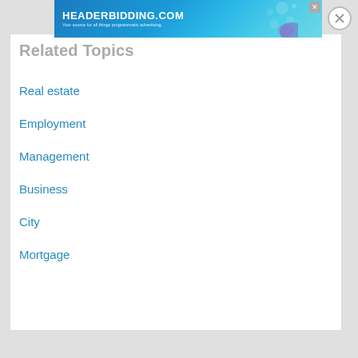[Figure (other): Advertisement banner for headerbidding.com with teal/blue gradient background and text 'HEADERBIDDING.COM — Your source for all things programmatic advertising.']
Related Topics
Real estate
Employment
Management
Business
City
Mortgage